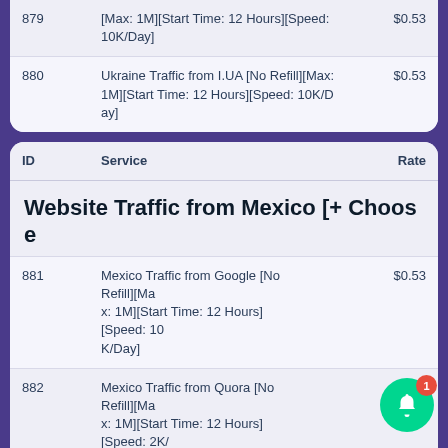| ID | Service | Rate |
| --- | --- | --- |
| 879 | [Max: 1M][Start Time: 12 Hours][Speed: 10K/Day] | $0.53 |
| 880 | Ukraine Traffic from I.UA [No Refill][Max: 1M][Start Time: 12 Hours][Speed: 10K/Day] | $0.53 |
| ID | Service | Rate |
| --- | --- | --- |
|  | Website Traffic from Mexico [+ Choose... |  |
| 881 | Mexico Traffic from Google [No Refill][Max: 1M][Start Time: 12 Hours][Speed: 10K/Day] | $0.53 |
| 882 | Mexico Traffic from Quora [No Refill][Max: 1M][Start Time: 12 Hours][Speed: 2K/Day] | $0.53 |
|  | Mexico Traffic from Tumblr [No Refill][M... |  |